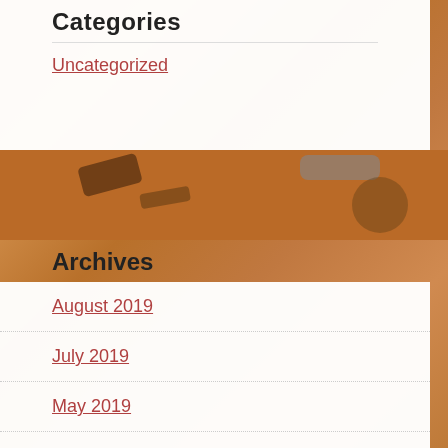Categories
Uncategorized
[Figure (photo): Background photo of woodworking tools and crafts on a wooden surface with warm orange tones]
Archives
August 2019
July 2019
May 2019
April 2019
August 2018
July 2018
June 2018